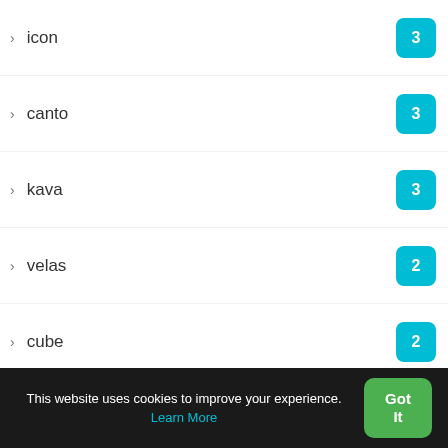icon — 3
canto — 3
kava — 3
velas — 2
cube — 2
vite — 2
gochain — 2
kusama — 2
oasis — 2
hoo-smart-chain — 2
theta — 2
This website uses cookies to improve your experience. Learn More
Got It